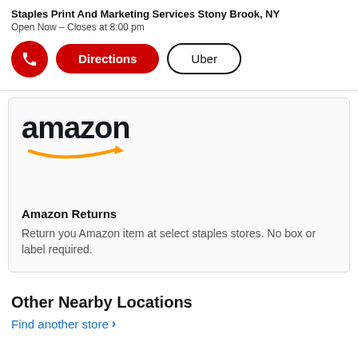Staples Print And Marketing Services Stony Brook, NY
Open Now – Closes at 8:00 pm
[Figure (infographic): Row of UI buttons: red phone icon circle, red Directions pill button, Uber outlined pill button]
[Figure (logo): Amazon logo with orange swoosh arrow beneath the text]
Amazon Returns
Return you Amazon item at select staples stores. No box or label required.
Other Nearby Locations
Find another store >